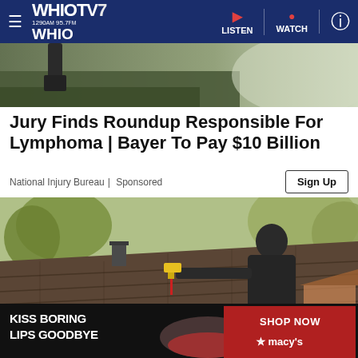WHIOTV7 1290am 95.7fm WHIO | LISTEN | WATCH
[Figure (photo): Top banner image showing grass and outdoor scene]
Jury Finds Roundup Responsible For Lymphoma | Bayer To Pay $10 Billion
National Injury Bureau | Sponsored
[Figure (photo): Person on roof holding a tool, with trees in background. Advertisement image with X close button and Macy's banner ad at bottom reading KISS BORING LIPS GOODBYE with SHOP NOW button.]